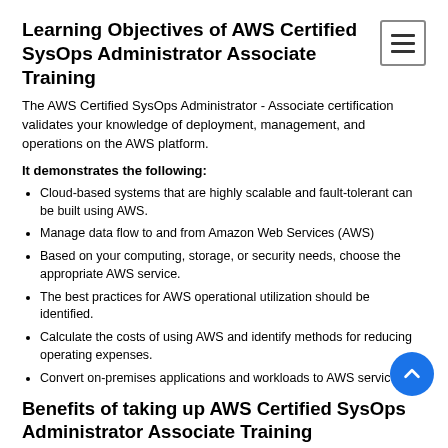Learning Objectives of AWS Certified SysOps Administrator Associate Training
The AWS Certified SysOps Administrator - Associate certification validates your knowledge of deployment, management, and operations on the AWS platform.
It demonstrates the following:
Cloud-based systems that are highly scalable and fault-tolerant can be built using AWS.
Manage data flow to and from Amazon Web Services (AWS)
Based on your computing, storage, or security needs, choose the appropriate AWS service.
The best practices for AWS operational utilization should be identified.
Calculate the costs of using AWS and identify methods for reducing operating expenses.
Convert on-premises applications and workloads to AWS services.
Benefits of taking up AWS Certified SysOps Administrator Associate Training